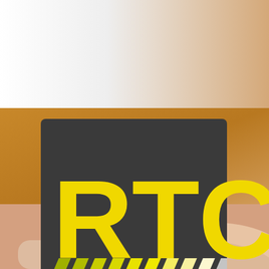[Figure (photo): A photograph of a hand holding a small pin or badge. The upper portion of the image shows a white background with a metal pin clasp visible at the top. The lower portion shows a warm brown/amber blurred background (possibly wood or cardboard) and a human hand/fingers holding the badge from below. Overlaid on the photo is the RTC logo: a dark charcoal/dark grey square badge containing the bold yellow letters 'RTC' in a heavy condensed sans-serif font, with diagonal yellow/olive hazard-stripe chevrons along the bottom of the badge.]